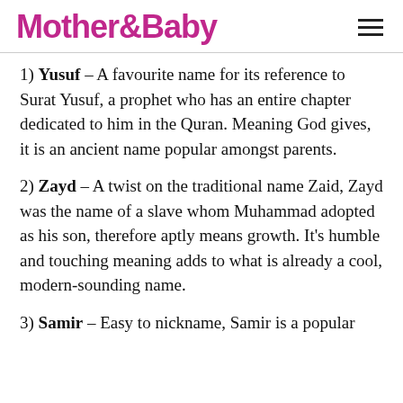Mother&Baby
1) Yusuf – A favourite name for its reference to Surat Yusuf, a prophet who has an entire chapter dedicated to him in the Quran. Meaning God gives, it is an ancient name popular amongst parents.
2) Zayd – A twist on the traditional name Zaid, Zayd was the name of a slave whom Muhammad adopted as his son, therefore aptly means growth. It's humble and touching meaning adds to what is already a cool, modern-sounding name.
3) Samir – Easy to nickname, Samir is a popular